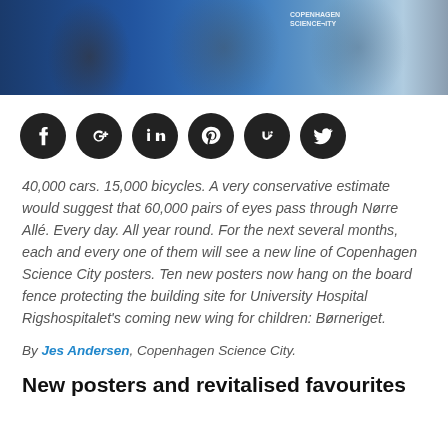[Figure (photo): A photo banner showing people near a Copenhagen Science City construction hoarding/fence, with a blue background and signage visible.]
[Figure (infographic): Six social media sharing icons in black circles: Facebook, Google+, LinkedIn, Pinterest, StumbleUpon, Twitter.]
40,000 cars. 15,000 bicycles. A very conservative estimate would suggest that 60,000 pairs of eyes pass through Nørre Allé. Every day. All year round. For the next several months, each and every one of them will see a new line of Copenhagen Science City posters. Ten new posters now hang on the board fence protecting the building site for University Hospital Rigshospitalet's coming new wing for children: Børneriget.
By Jes Andersen, Copenhagen Science City.
New posters and revitalised favourites